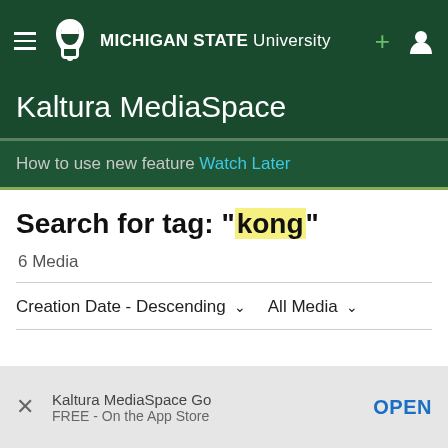Michigan State University — Kaltura MediaSpace
How to use new feature Watch Later
Search for tag: "kong"
6 Media
Creation Date - Descending ▾   All Media ▾
Kaltura MediaSpace Go
FREE - On the App Store
OPEN